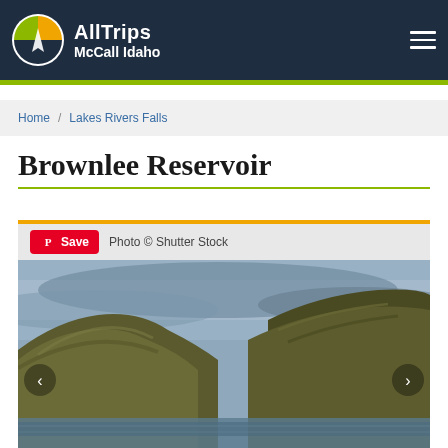AllTrips McCall Idaho
Home / Lakes Rivers Falls
Brownlee Reservoir
[Figure (screenshot): Pinterest Save button and 'Photo © Shutter Stock' attribution bar above a landscape photograph of Brownlee Reservoir showing steep brown hills/mountains descending to water under an overcast sky, with left and right navigation arrows.]